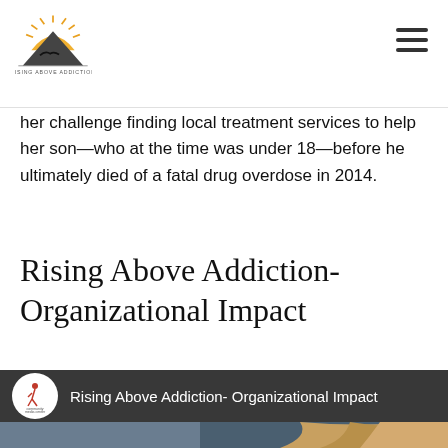RISING ABOVE ADDICTION
her challenge finding local treatment services to help her son—who at the time was under 18—before he ultimately died of a fatal drug overdose in 2014.
Rising Above Addiction- Organizational Impact
[Figure (screenshot): Video thumbnail showing 'Rising Above Addiction- Organizational Impact' with a community media center logo circle and a woman with blonde hair in the lower portion]